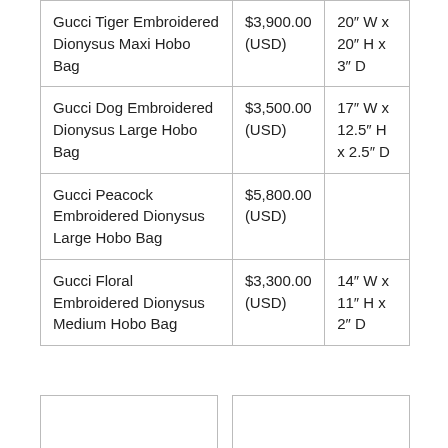|  |  |  |
| --- | --- | --- |
| Gucci Tiger Embroidered Dionysus Maxi Hobo Bag | $3,900.00 (USD) | 20″ W x 20″ H x 3″ D |
| Gucci Dog Embroidered Dionysus Large Hobo Bag | $3,500.00 (USD) | 17″ W x 12.5″ H x 2.5″ D |
| Gucci Peacock Embroidered Dionysus Large Hobo Bag | $5,800.00 (USD) |  |
| Gucci Floral Embroidered Dionysus Medium Hobo Bag | $3,300.00 (USD) | 14″ W x 11″ H x 2″ D |